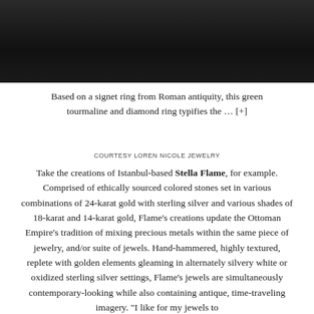[Figure (photo): Dark photograph, partial view of a person or object against a nearly black background, upper portion of the page]
Based on a signet ring from Roman antiquity, this green tourmaline and diamond ring typifies the ... [+]
COURTESY LOREN NICOLE JEWELRY
Take the creations of Istanbul-based Stella Flame, for example. Comprised of ethically sourced colored stones set in various combinations of 24-karat gold with sterling silver and various shades of 18-karat and 14-karat gold, Flame’s creations update the Ottoman Empire’s tradition of mixing precious metals within the same piece of jewelry, and/or suite of jewels. Hand-hammered, highly textured, replete with golden elements gleaming in alternately silvery white or oxidized sterling silver settings, Flame’s jewels are simultaneously contemporary-looking while also containing antique, time-traveling imagery. “I like for my jewels to